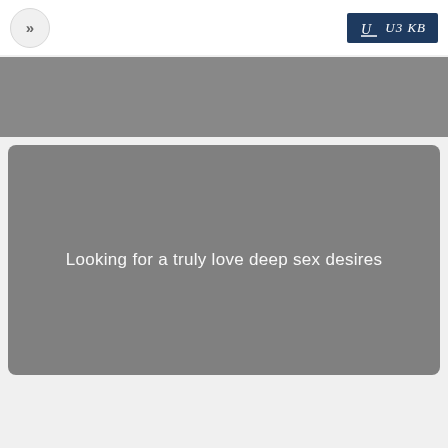[Figure (screenshot): Navigation button with double chevron (>>) in a circular gray button on the left; dark blue logo badge with 'U3KB' text on the right]
[Figure (screenshot): Gray horizontal banner bar]
[Figure (screenshot): Large gray rounded rectangle card with centered white text]
Looking for a truly love deep sex desires